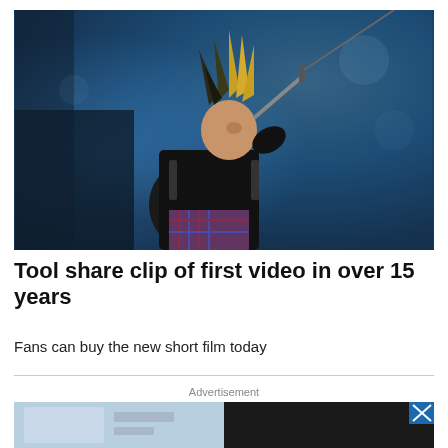[Figure (photo): Concert photo of a punk rock performer with spiked hair singing into a microphone, wearing a black leather jacket and plaid pants, against a blue lit background]
Tool share clip of first video in over 15 years
Fans can buy the new short film today
Advertisement
[Figure (photo): Advertisement banner image, partially visible, with a blue/grey left section and dark right section with an X close button]